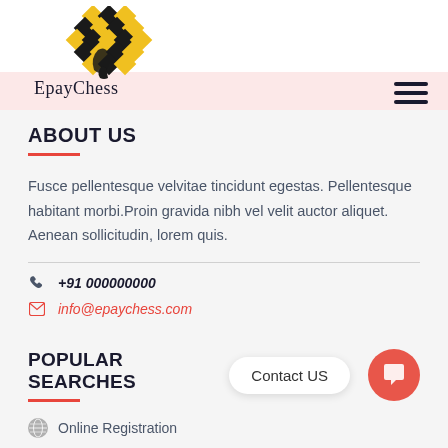[Figure (logo): EpayChess logo: chess knight piece made of yellow and black checkered diamonds pattern]
EpayChess
ABOUT US
Fusce pellentesque velvitae tincidunt egestas. Pellentesque habitant morbi.Proin gravida nibh vel velit auctor aliquet. Aenean sollicitudin, lorem quis.
+91 000000000
info@epaychess.com
POPULAR SEARCHES
Contact US
Online Registration